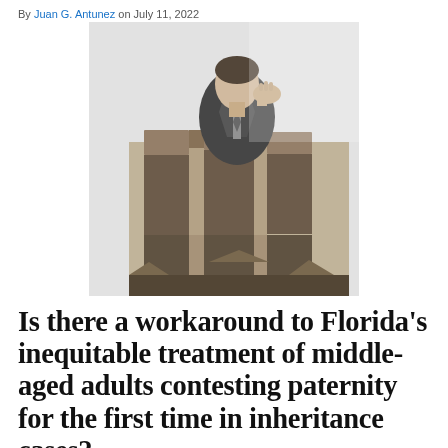By Juan G. Antunez on July 11, 2022
[Figure (photo): Black and white photograph of a person in a suit standing behind a wooden maze/labyrinth, partially obscured — representing complexity and confusion in legal matters.]
Is there a workaround to Florida's inequitable treatment of middle-aged adults contesting paternity for the first time in inheritance cases?